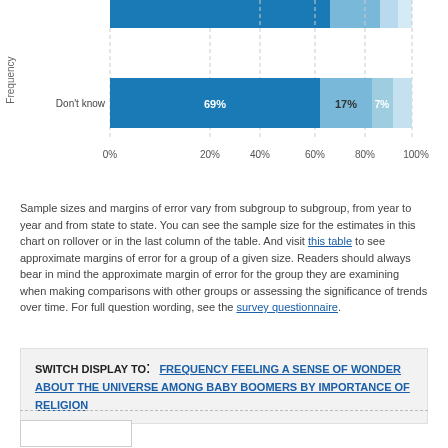[Figure (stacked-bar-chart): Frequency feeling a sense of wonder about the universe]
Sample sizes and margins of error vary from subgroup to subgroup, from year to year and from state to state. You can see the sample size for the estimates in this chart on rollover or in the last column of the table. And visit this table to see approximate margins of error for a group of a given size. Readers should always bear in mind the approximate margin of error for the group they are examining when making comparisons with other groups or assessing the significance of trends over time. For full question wording, see the survey questionnaire.
SWITCH DISPLAY TO: FREQUENCY FEELING A SENSE OF WONDER ABOUT THE UNIVERSE AMONG BABY BOOMERS BY IMPORTANCE OF RELIGION